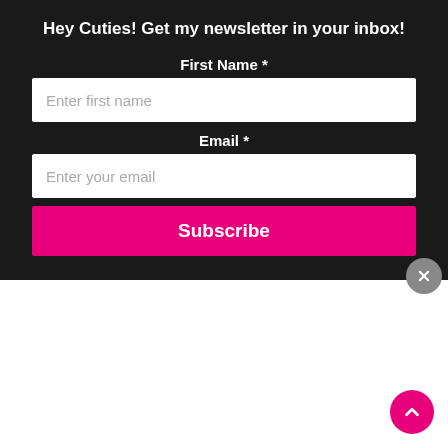Hey Cuties! Get my newsletter in your inbox!
First Name *
Enter first name
Email *
Enter your email
Subscribe
OCTOBER 28, 2020 AT 10:00 PM
I have not, but I will ask around.
Kitt says
MARCH 30, 2021 AT 11:36 AM